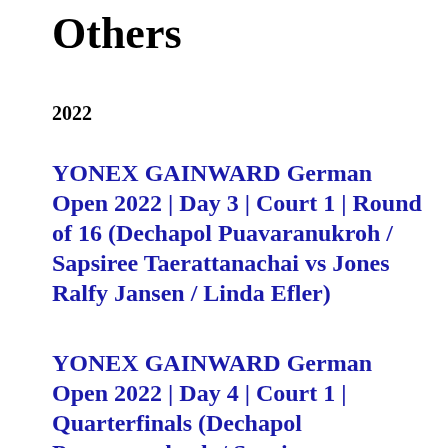Others
2022
YONEX GAINWARD German Open 2022 | Day 3 | Court 1 | Round of 16 (Dechapol Puavaranukroh / Sapsiree Taerattanachai vs Jones Ralfy Jansen / Linda Efler)
YONEX GAINWARD German Open 2022 | Day 4 | Court 1 | Quarterfinals (Dechapol Puavaranukroh / Sapsiree Taerattanachai vs Tan